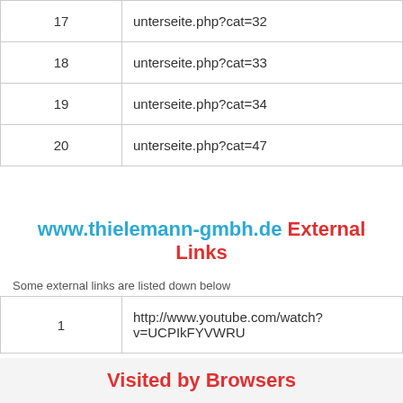| # | URL |
| --- | --- |
| 17 | unterseite.php?cat=32 |
| 18 | unterseite.php?cat=33 |
| 19 | unterseite.php?cat=34 |
| 20 | unterseite.php?cat=47 |
www.thielemann-gmbh.de External Links
Some external links are listed down below
| # | URL |
| --- | --- |
| 1 | http://www.youtube.com/watch?v=UCPIkFYVWRU |
Visited by Browsers